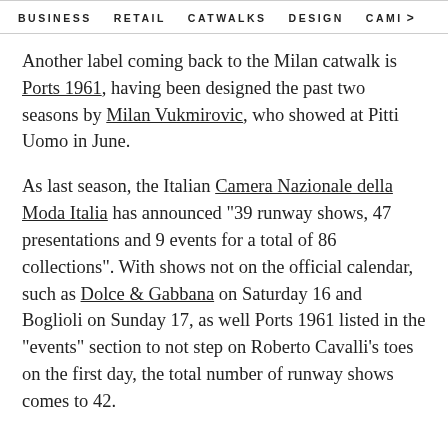BUSINESS   RETAIL   CATWALKS   DESIGN   CAMI >
Another label coming back to the Milan catwalk is Ports 1961, having been designed the past two seasons by Milan Vukmirovic, who showed at Pitti Uomo in June.
As last season, the Italian Camera Nazionale della Moda Italia has announced "39 runway shows, 47 presentations and 9 events for a total of 86 collections". With shows not on the official calendar, such as Dolce & Gabbana on Saturday 16 and Boglioli on Sunday 17, as well Ports 1961 listed in the "events" section to not step on Roberto Cavalli's toes on the first day, the total number of runway shows comes to 42.